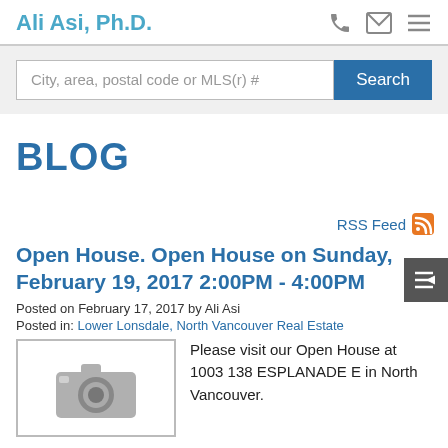Ali Asi, Ph.D.
City, area, postal code or MLS(r) #  Search
BLOG
RSS Feed
Open House. Open House on Sunday, February 19, 2017 2:00PM - 4:00PM
Posted on February 17, 2017 by Ali Asi
Posted in: Lower Lonsdale, North Vancouver Real Estate
[Figure (photo): Camera placeholder image icon in gray]
Please visit our Open House at 1003 138 ESPLANADE E in North Vancouver.